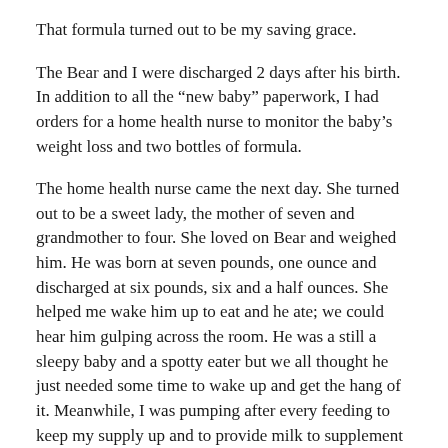That formula turned out to be my saving grace.
The Bear and I were discharged 2 days after his birth. In addition to all the “new baby” paperwork, I had orders for a home health nurse to monitor the baby’s weight loss and two bottles of formula.
The home health nurse came the next day. She turned out to be a sweet lady, the mother of seven and grandmother to four. She loved on Bear and weighed him. He was born at seven pounds, one ounce and discharged at six pounds, six and a half ounces. She helped me wake him up to eat and he ate; we could hear him gulping across the room. He was a still a sleepy baby and a spotty eater but we all thought he just needed some time to wake up and get the hang of it. Meanwhile, I was pumping after every feeding to keep my supply up and to provide milk to supplement with.
Within a few days of coming home, nights became hell. Around 5:00p.m., Bear would cry, scream and generally